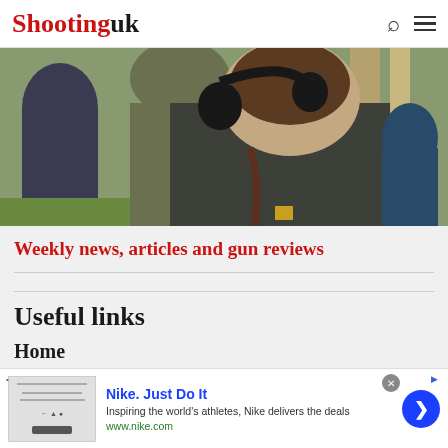Shooting uk
[Figure (photo): Back view of a person wearing black ear defenders and a jacket, with other people and green trees in the background outdoors]
Weekly news, articles and gun reviews
Useful links
Home
Nike. Just Do It — Inspiring the world's athletes, Nike delivers the deals — www.nike.com